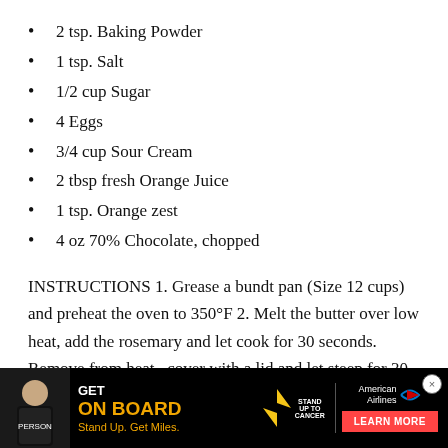2 tsp. Baking Powder
1 tsp. Salt
1/2 cup Sugar
4 Eggs
3/4 cup Sour Cream
2 tbsp fresh Orange Juice
1 tsp. Orange zest
4 oz 70% Chocolate, chopped
INSTRUCTIONS 1. Grease a bundt pan (Size 12 cups) and preheat the oven to 350°F 2. Melt the butter over low heat, add the rosemary and let cook for 30 seconds. Remove from heat, cover with a lid and let steep for 30 minutes. Then strain and discard solids. (If the butter has hardened, heat to re-melt. Meanwhile, sift t…
[Figure (other): Advertisement banner: GET ON BOARD, Stand Up. Get Miles. American Airlines LEARN MORE promotion with Stand Up To Cancer logo.]